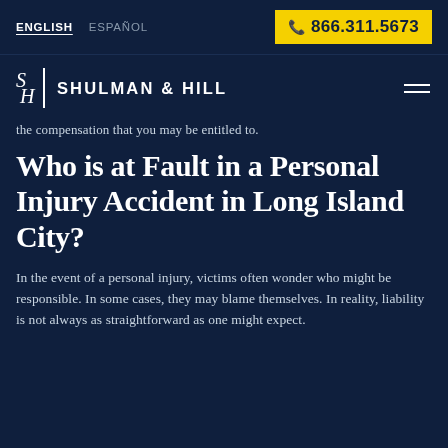ENGLISH  ESPAÑOL  866.311.5673
[Figure (logo): Shulman & Hill law firm logo with SH monogram and firm name, plus hamburger menu icon]
the compensation that you may be entitled to.
Who is at Fault in a Personal Injury Accident in Long Island City?
In the event of a personal injury, victims often wonder who might be responsible. In some cases, they may blame themselves. In reality, liability is not always as straightforward as one might expect.